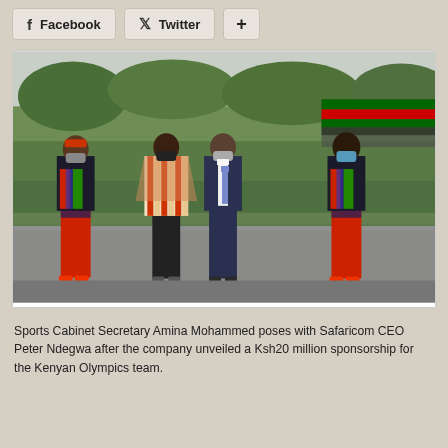[Figure (other): Social sharing buttons: Facebook, Twitter, and a plus (+) button]
[Figure (photo): Sports Cabinet Secretary Amina Mohammed poses with Safaricom CEO Peter Ndegwa and two athletes in Kenyan Olympic team uniforms (red pants, striped jackets) and face masks, standing outdoors in front of a hedge with Kenyan flag colors visible on a fence in the background.]
Sports Cabinet Secretary Amina Mohammed poses with Safaricom CEO Peter Ndegwa after the company unveiled a Ksh20 million sponsorship for the Kenyan Olympics team.